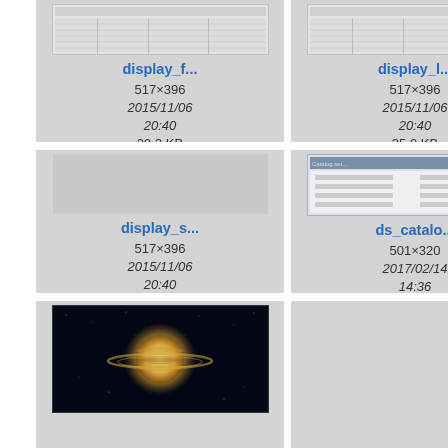[Figure (screenshot): Thumbnail of display_f... file, 517x396, 2015/11/06 20:40, 29.3 KB]
[Figure (screenshot): Thumbnail of display_l... file, 517x396, 2015/11/06 20:40, 35.9 KB]
[Figure (screenshot): Partial thumbnail at right edge]
[Figure (screenshot): Thumbnail of display_s... file, 517x396, 2015/11/06 20:40, 25 KB]
[Figure (screenshot): Thumbnail of ds_catalo... file, 501x320, 2017/02/14 14:36, 20.2 KB]
[Figure (screenshot): Partial thumbnail at right edge]
[Figure (photo): Astronomical image showing a bright celestial object (planet) against dark background]
[Figure (screenshot): Empty thumbnail placeholder]
[Figure (screenshot): Partial thumbnail at right edge]